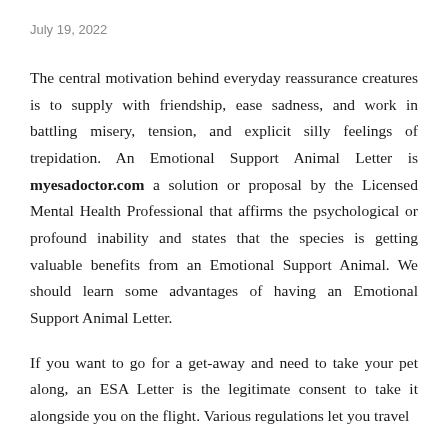July 19, 2022
The central motivation behind everyday reassurance creatures is to supply with friendship, ease sadness, and work in battling misery, tension, and explicit silly feelings of trepidation. An Emotional Support Animal Letter is myesadoctor.com a solution or proposal by the Licensed Mental Health Professional that affirms the psychological or profound inability and states that the species is getting valuable benefits from an Emotional Support Animal. We should learn some advantages of having an Emotional Support Animal Letter.
If you want to go for a get-away and need to take your pet along, an ESA Letter is the legitimate consent to take it alongside you on the flight. Various regulations let you travel